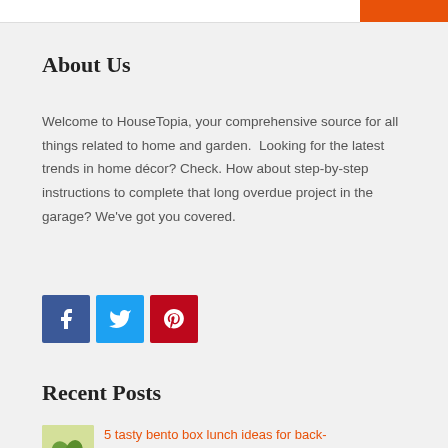About Us
Welcome to HouseTopia, your comprehensive source for all things related to home and garden. Looking for the latest trends in home décor? Check. How about step-by-step instructions to complete that long overdue project in the garage? We've got you covered.
[Figure (infographic): Social media icons: Facebook (blue), Twitter (light blue), Pinterest (red)]
Recent Posts
5 tasty bento box lunch ideas for back-